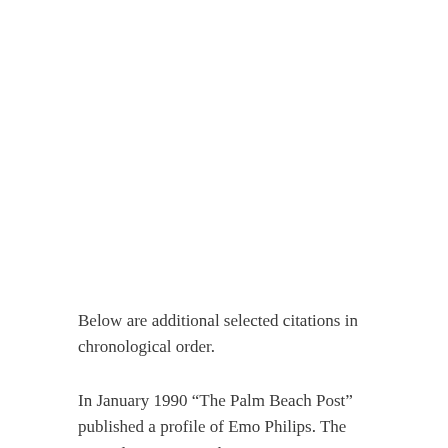Below are additional selected citations in chronological order.
In January 1990 “The Palm Beach Post” published a profile of Emo Philips. The journalist Peter Smith